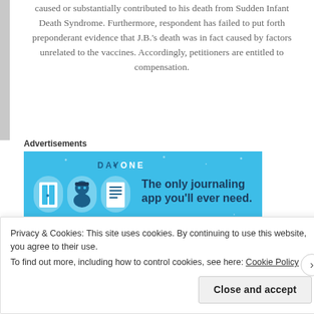caused or substantially contributed to his death from Sudden Infant Death Syndrome. Furthermore, respondent has failed to put forth preponderant evidence that J.B.'s death was in fact caused by factors unrelated to the vaccines. Accordingly, petitioners are entitled to compensation.
[Figure (other): Day One journaling app advertisement banner with blue background. Logo reads 'DAY ONE' and tagline 'The only journaling app you'll ever need.']
Study – Human papilloma virus vaccine and primary ovarian failure: another facet of the autoimmune/inflammatory syndrome induced by adjuvants.
RESULTS: All three patients developed secondary amenorrhea following HPV vaccinations. which did not resolve upon treatment with hormone
Privacy & Cookies: This site uses cookies. By continuing to use this website, you agree to their use.
To find out more, including how to control cookies, see here: Cookie Policy